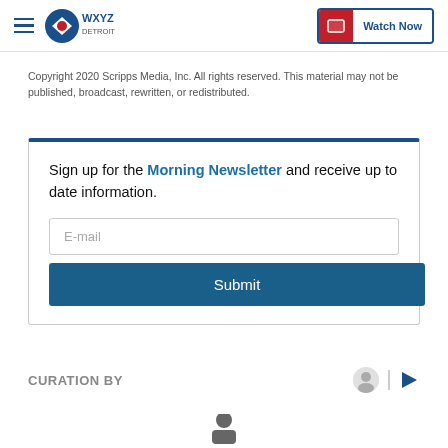WXYZ Detroit — Watch Now
Copyright 2020 Scripps Media, Inc. All rights reserved. This material may not be published, broadcast, rewritten, or redistributed.
Sign up for the Morning Newsletter and receive up to date information.
E-mail
Submit
CURATION BY